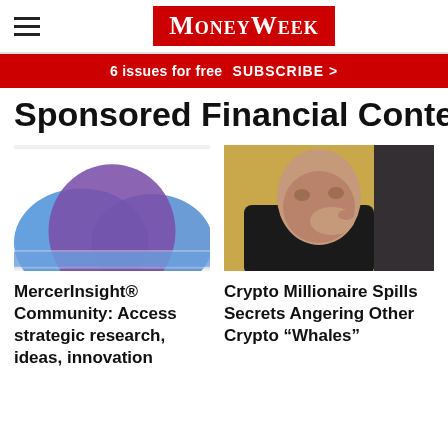MoneyWeek
6 issues for free  SUBSCRIBE >
Sponsored Financial Content
[Figure (logo): MercerInsight abstract wave logo with blue and purple overlapping hills]
MercerInsight® Community: Access strategic research, ideas, innovation
[Figure (photo): Bald man in dark jacket with hand near face, looking thoughtful in front of a computer screen]
Crypto Millionaire Spills Secrets Angering Other Crypto “Whales”